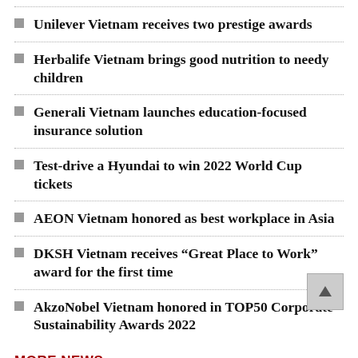Unilever Vietnam receives two prestige awards
Herbalife Vietnam brings good nutrition to needy children
Generali Vietnam launches education-focused insurance solution
Test-drive a Hyundai to win 2022 World Cup tickets
AEON Vietnam honored as best workplace in Asia
DKSH Vietnam receives “Great Place to Work” award for the first time
AkzoNobel Vietnam honored in TOP50 Corporate Sustainability Awards 2022
MORE NEWS